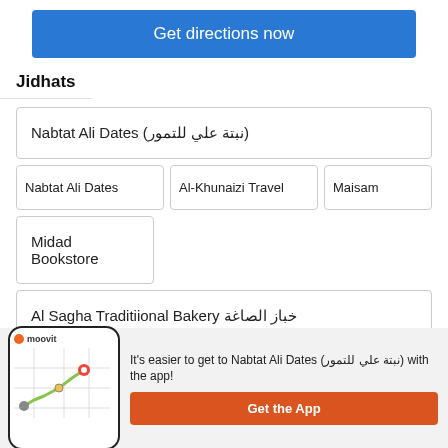[Figure (screenshot): Blue 'Get directions now' button]
Jidhats
Nabtat Ali Dates (نبتة علي للتمور)
Nabtat Ali Dates
Al-Khunaizi Travel
Maisam
Midad Bookstore
Al Sagha Traditiional Bakery خباز الصاغة
[Figure (screenshot): Moovit app promotional banner with phone illustration and map route. Text: It's easier to get to Nabtat Ali Dates (نبتة علي للتمور) with the app! Button: Get the App]